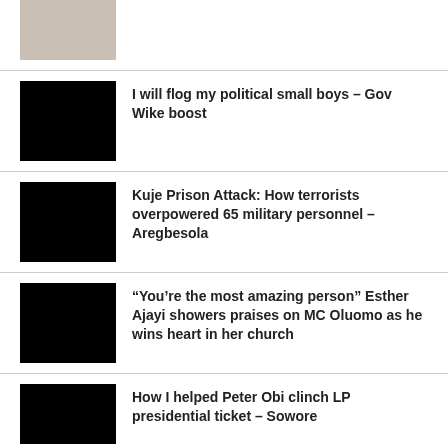[Figure (photo): Partial photo of person holding microphone, cropped at top]
I will flog my political small boys – Gov Wike boost
Kuje Prison Attack: How terrorists overpowered 65 military personnel – Aregbesola
“You’re the most amazing person” Esther Ajayi showers praises on MC Oluomo as he wins heart in her church
How I helped Peter Obi clinch LP presidential ticket – Sowore